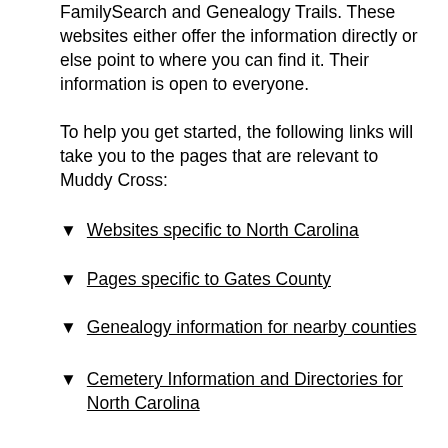FamilySearch and Genealogy Trails. These websites either offer the information directly or else point to where you can find it. Their information is open to everyone.
To help you get started, the following links will take you to the pages that are relevant to Muddy Cross:
Websites specific to North Carolina
Pages specific to Gates County
Genealogy information for nearby counties
Cemetery Information and Directories for North Carolina
Of Special Interest ...
Cemeteries Near Muddy Cross ...